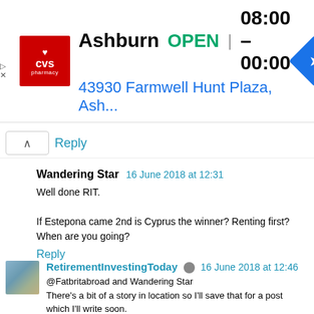[Figure (screenshot): CVS Pharmacy advertisement banner showing Ashburn location, OPEN status, hours 08:00-00:00, address 43930 Farmwell Hunt Plaza, Ash..., with CVS logo and navigation arrow icon]
Reply
Wandering Star  16 June 2018 at 12:31
Well done RIT.

If Estepona came 2nd is Cyprus the winner? Renting first? When are you going?
Reply
RetirementInvestingToday  16 June 2018 at 12:46
@Fatbritabroad and Wandering Star
There's a bit of a story in location so I'll save that for a post which I'll write soon.